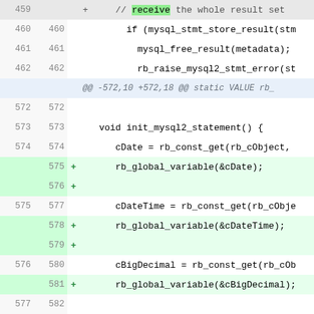[Figure (screenshot): A unified diff view of source code changes in a monospace font. Shows line numbers for old and new versions, with added lines highlighted in green and context lines in white. The diff covers lines 459-587 and includes changes to C code for mysql2 statement initialization, including calls to rb_global_variable for cDate, cDateTime, cBigDecimal, and cMysql2Statement.]